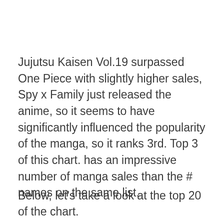Jujutsu Kaisen Vol.19 surpassed One Piece with slightly higher sales, Spy x Family just released the anime, so it seems to have significantly influenced the popularity of the manga, so it ranks 3rd. Top 3 of this chart. has an impressive number of manga sales than the # names on the same list.
Below, let's take a look at the top 20 of the chart.